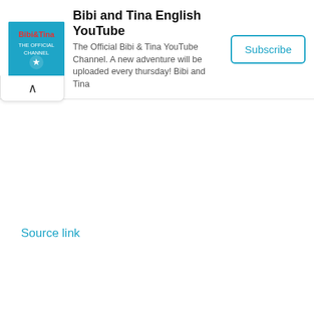[Figure (screenshot): Advertisement banner for Bibi and Tina English YouTube channel with logo icon, title, description text, and Subscribe button. Top-right corner shows ad markers (triangle and X). Below the ad is a collapse tab with an up-arrow chevron. At bottom left is a 'Source link' hyperlink in blue.]
Bibi and Tina English YouTube
The Official Bibi & Tina YouTube Channel. A new adventure will be uploaded every thursday! Bibi and Tina
Source link